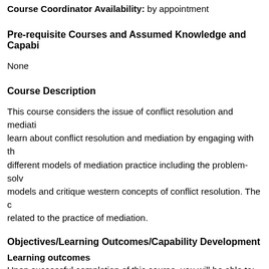Course Coordinator Availability: by appointment
Pre-requisite Courses and Assumed Knowledge and Capabilities
None
Course Description
This course considers the issue of conflict resolution and mediation. Students learn about conflict resolution and mediation by engaging with the literature and different models of mediation practice including the problem-solving and narrative models and critique western concepts of conflict resolution. The course examines legal issues related to the practice of mediation.
Objectives/Learning Outcomes/Capability Development
Learning outcomes
Upon successful completion of this course, you will be able to:
a) Differentiate and appraise different theories of conflict resolution;
b) Critically analyse and apply legislation and case law relating to conflict resolution contexts;
c) Identify and demonstrate mediation skills across a range of disputes;